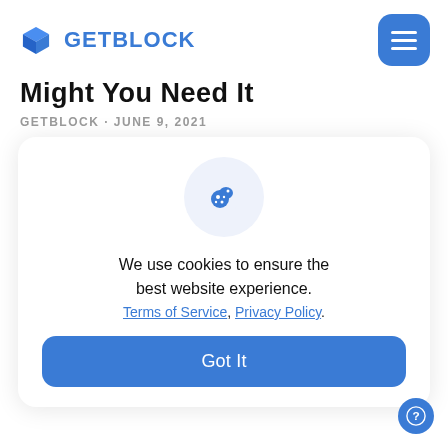GETBLOCK
Might You Need It
GETBLOCK · JUNE 9, 2021
[Figure (illustration): Cookie consent dialog card with cookie palette icon, text 'We use cookies to ensure the best website experience. Terms of Service, Privacy Policy.' and a 'Got It' button.]